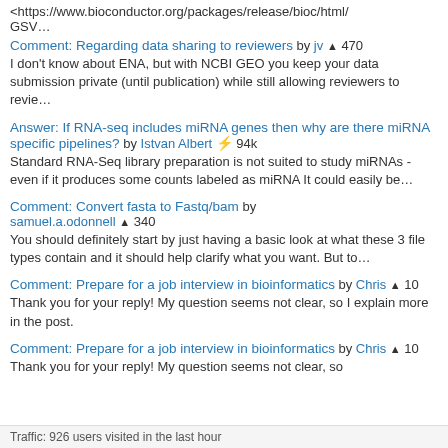<https://www.bioconductor.org/packages/release/bioc/html/GSV…
Comment: Regarding data sharing to reviewers by jv ▲ 470
I don't know about ENA, but with NCBI GEO you keep your data submission private (until publication) while still allowing reviewers to revie…
Answer: If RNA-seq includes miRNA genes then why are there miRNA specific pipelines? by Istvan Albert ⚡ 94k
Standard RNA-Seq library preparation is not suited to study miRNAs - even if it produces some counts labeled as miRNA It could easily be…
Comment: Convert fasta to Fastq/bam by samuel.a.odonnell ▲ 340
You should definitely start by just having a basic look at what these 3 file types contain and it should help clarify what you want. But to…
Comment: Prepare for a job interview in bioinformatics by Chris ▲ 10
Thank you for your reply! My question seems not clear, so I explain more in the post.
Comment: Prepare for a job interview in bioinformatics by Chris ▲ 10
Thank you for your reply! My question seems not clear, so
Traffic: 926 users visited in the last hour